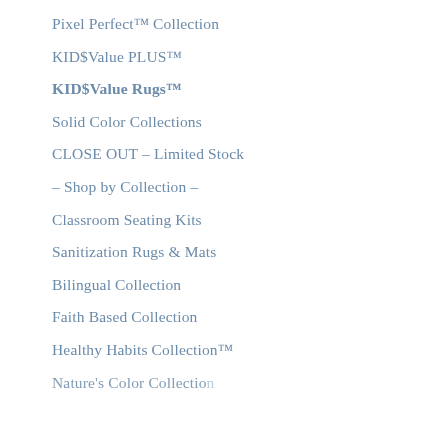Pixel Perfect™ Collection
KID$Value PLUS™
KID$Value Rugs™
Solid Color Collections
CLOSE OUT – Limited Stock
– Shop by Collection –
Classroom Seating Kits
Sanitization Rugs & Mats
Bilingual Collection
Faith Based Collection
Healthy Habits Collection™
Nature's Color Collection…